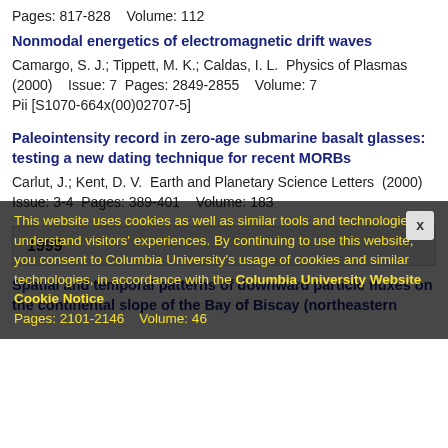Pages: 817-828    Volume: 112
Nonmodal energetics of electromagnetic drift waves
Camargo, S. J.; Tippett, M. K.; Caldas, I. L.  Physics of Plasmas (2000)    Issue: 7  Pages: 2849-2855    Volume: 7
Pii [S1070-664x(00)02707-5]
Paleointensity record in zero-age submarine basalt glasses: testing a new dating technique for recent MORBs
Carlut, J.; Kent, D. V.  Earth and Planetary Science Letters  (2000)  Issue: 3-4  Pages: 389-401    Volume: 183
1999
Spatial and temporal patterns of downward particle fluxes on the continental slope of the Bay of Biscay (northeastern
Pages: 2101-2146    Volume: 46
This website uses cookies as well as similar tools and technologies to understand visitors' experiences. By continuing to use this website, you consent to Columbia University's usage of cookies and similar technologies, in accordance with the Columbia University Website Cookie Notice